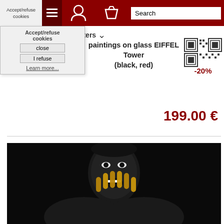Accept/refuse cookies | filters | Search bar with navigation icons
Accept/refuse cookies
close
filters
paintings on glass EIFFEL Tower (black, red)
[Figure (other): QR code with -20% discount label]
199.00 €
[Figure (photo): Product photo: person with black painted skin and gold metallic hands/fingers covering mouth, laughing expression, black background]
I refuse
Learn more...